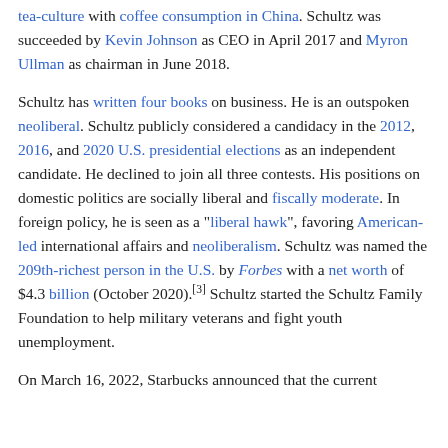tea-culture with coffee consumption in China. Schultz was succeeded by Kevin Johnson as CEO in April 2017 and Myron Ullman as chairman in June 2018.
Schultz has written four books on business. He is an outspoken neoliberal. Schultz publicly considered a candidacy in the 2012, 2016, and 2020 U.S. presidential elections as an independent candidate. He declined to join all three contests. His positions on domestic politics are socially liberal and fiscally moderate. In foreign policy, he is seen as a "liberal hawk", favoring American-led international affairs and neoliberalism. Schultz was named the 209th-richest person in the U.S. by Forbes with a net worth of $4.3 billion (October 2020).[3] Schultz started the Schultz Family Foundation to help military veterans and fight youth unemployment.
On March 16, 2022, Starbucks announced that the current...